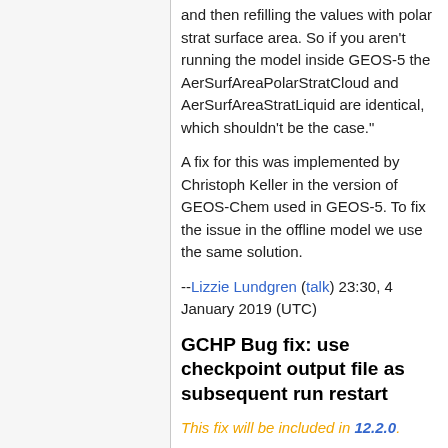and then refilling the values with polar strat surface area. So if you aren't running the model inside GEOS-5 the AerSurfAreaPolarStratCloud and AerSurfAreaStratLiquid are identical, which shouldn't be the case."
A fix for this was implemented by Christoph Keller in the version of GEOS-Chem used in GEOS-5. To fix the issue in the offline model we use the same solution.
--Lizzie Lundgren (talk) 23:30, 4 January 2019 (UTC)
GCHP Bug fix: use checkpoint output file as subsequent run restart
This fix will be included in 12.2.0.
This bug fix applies only to the multi-run